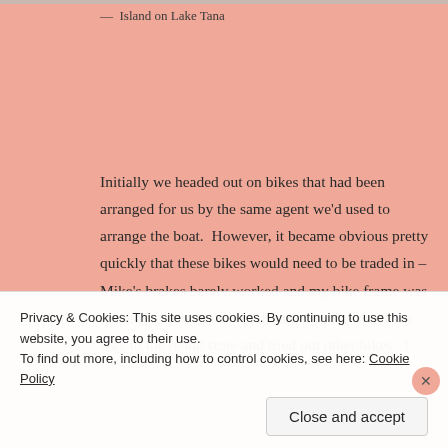— Island on Lake Tana
Initially we headed out on bikes that had been arranged for us by the same agent we'd used to arrange the boat.  However, it became obvious pretty quickly that these bikes would need to be traded in – Mike's brakes barely worked and my bike frame was made for someone over 6 ft tall.  So, we found our way to the rental store and tried out other bikes.  I
Privacy & Cookies: This site uses cookies. By continuing to use this website, you agree to their use.
To find out more, including how to control cookies, see here: Cookie Policy
Close and accept